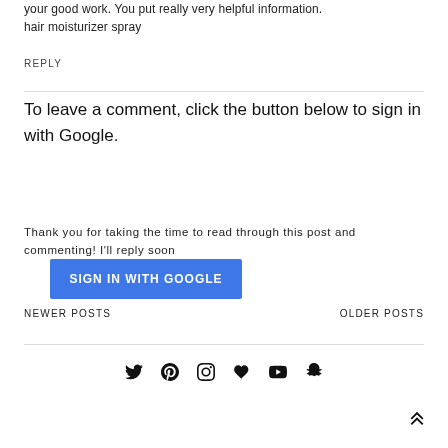your good work. You put really very helpful information. hair moisturizer spray
REPLY
To leave a comment, click the button below to sign in with Google.
SIGN IN WITH GOOGLE
Thank you for taking the time to read through this post and commenting! I'll reply soon
NEWER POSTS
OLDER POSTS
[Figure (infographic): Social media icons row: Twitter, Pinterest, Instagram, heart/Bloglovin, YouTube, Snapchat]
[Figure (other): Back to top double chevron arrow icon]